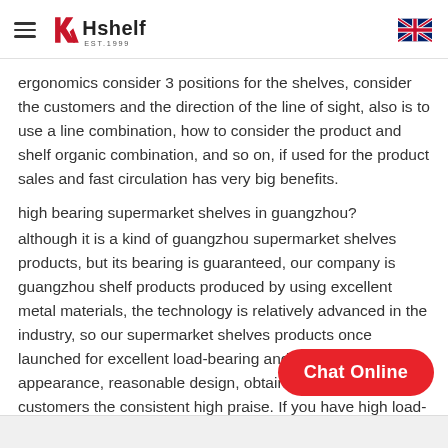Hshelf EST.1999
ergonomics consider 3 positions for the shelves, consider the customers and the direction of the line of sight, also is to use a line combination, how to consider the product and shelf organic combination, and so on, if used for the product sales and fast circulation has very big benefits.
high bearing supermarket shelves in guangzhou?
although it is a kind of guangzhou supermarket shelves products, but its bearing is guaranteed, our company is guangzhou shelf products produced by using excellent metal materials, the technology is relatively advanced in the industry, so our supermarket shelves products once launched for excellent load-bearing and beautiful appearance, reasonable design, obtained the general customers the consistent high praise. If you have high load-bearing supermarket shelves need, quick guangzhou dongsheng shelf fa... me! The factory is a professional manufacturer of guangzhou shelves,